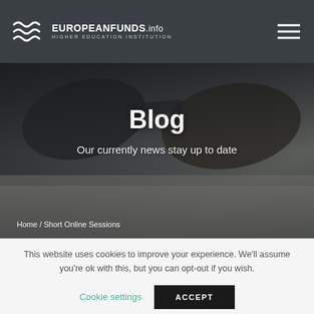EUROPEANFUNDS.info HIGHER EDUCATION INSTITUTION
[Figure (screenshot): Hero banner image showing eyeglasses resting on an open notebook, with a dark overlay. Page title 'Blog' and subtitle 'Our currently news stay up to date' overlaid in white text.]
Blog
Our currently news stay up to date
Home / Short Online Sessions
This website uses cookies to improve your experience. We'll assume you're ok with this, but you can opt-out if you wish.
Cookie settings
ACCEPT